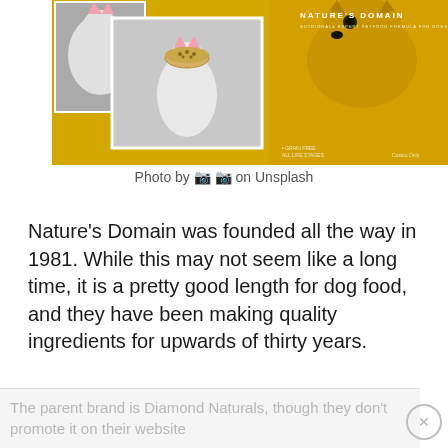[Figure (photo): Nature's Domain branded dog food advertisement on yellow background showing photos of white cats and a husky dog, with 'Nature's Domain' brand text in white]
Photo by 🐾 🐾 on Unsplash
Nature's Domain was founded all the way in 1981. While this may not seem like a long time, it is a pretty good length for dog food, and they have been making quality ingredients for upwards of thirty years.
The parent brand is Diamond Naturals, though they don't promote it on their website